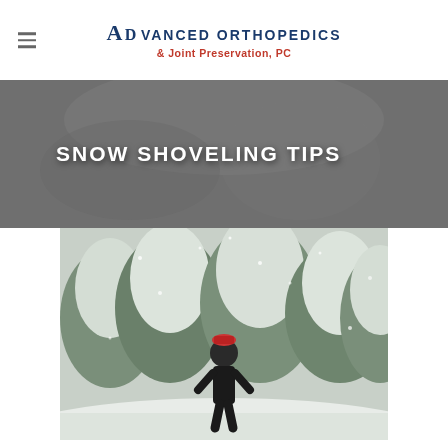Advanced Orthopedics & Joint Preservation, PC
SNOW SHOVELING TIPS
[Figure (photo): Person standing in a snowy winter scene outdoors among snow-covered trees, wearing dark clothing and a hat, with snow falling.]